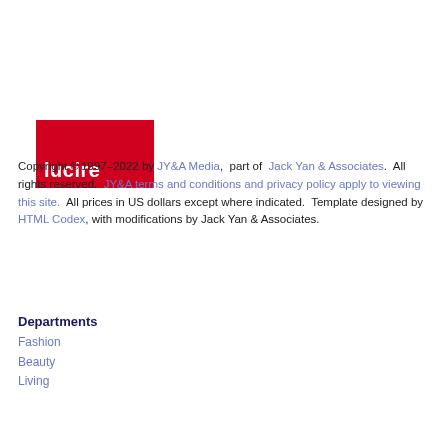[Figure (logo): Lucire magazine logo: red rectangle with white bold lowercase text 'lucire']
Copyright © 1997–2022 by JY&A Media, part of Jack Yan & Associates. All rights reserved. JY&A terms and conditions and privacy policy apply to viewing this site. All prices in US dollars except where indicated. Template designed by HTML Codex, with modifications by Jack Yan & Associates.
Departments
Fashion
Beauty
Living
[Figure (infographic): Infolinks ad banner with 'All about Beauty & Hair Care Products' advertisement, image of person holding bottle, visit joyusabeauty.com text, and navigation arrow button]